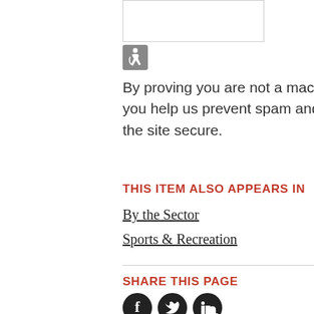[Figure (other): CAPTCHA verification box with white background and border]
[Figure (other): Accessibility/wheelchair icon in grey square]
By proving you are not a machine, you help us prevent spam and keep the site secure.
THIS ITEM ALSO APPEARS IN
By the Sector
Sports & Recreation
SHARE THIS PAGE
[Figure (other): Social media share icons: Facebook, Twitter, LinkedIn]
WRITER
[Figure (photo): Partial photo of a person, cropped at bottom of page]